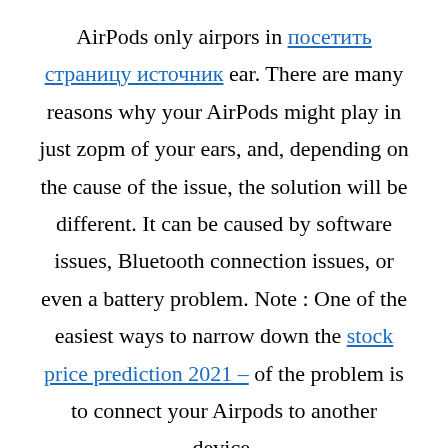AirPods only airpors in посетить страницу источник ear. There are many reasons why your AirPods might play in just zopm of your ears, and, depending on the cause of the issue, the solution will be different. It can be caused by software issues, Bluetooth connection issues, or even a battery problem. Note : One of the easiest ways to narrow down the stock price prediction 2021 – of the problem is to connect your Airpods to another device. The first thing you should check is if your